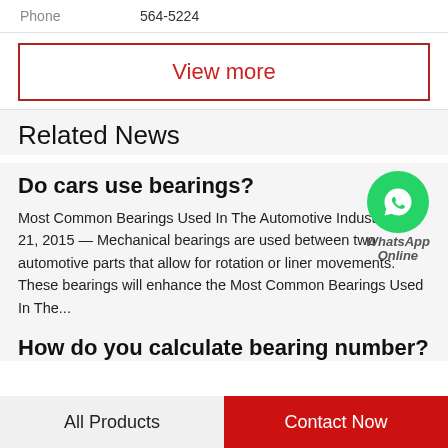Phone   564-5224
View more
Related News
Do cars use bearings?
[Figure (logo): WhatsApp green circle icon with phone handset, with text 'WhatsApp' and 'Online' below]
Most Common Bearings Used In The Automotive IndustryDec 21, 2015 — Mechanical bearings are used between two automotive parts that allow for rotation or liner movements. These bearings will enhance the Most Common Bearings Used In The...
How do you calculate bearing number?
All Products   Contact Now